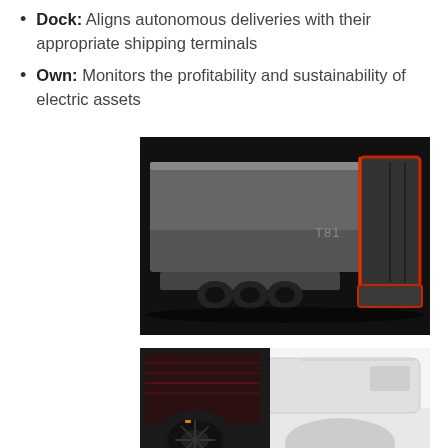Dock: Aligns autonomous deliveries with their appropriate shipping terminals
Own: Monitors the profitability and sustainability of electric assets
[Figure (photo): A sleek futuristic electric truck trailer (labeled T81) photographed against a dark background, showing the side and rear with red accent lighting along the edges]
[Figure (photo): Close-up photograph of the front/wheel area of a futuristic autonomous truck, showing dark wheels and a white/silver cab body with red/brown interior visible]